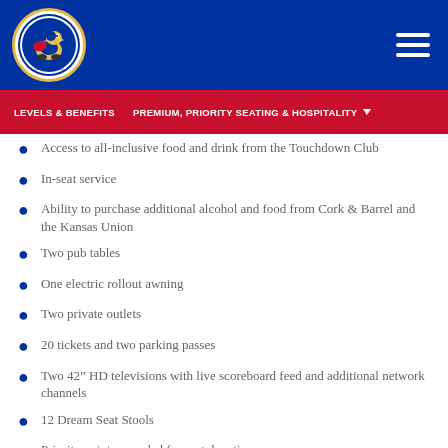[Figure (logo): Kansas Athletics logo - Jayhawk mascot in circular emblem with blue and red colors]
LEVELS & BENEFITS    PREMIUM, PRIORITY SEATING & HOSPITALITY ▼
Access to all-inclusive food and drink from the Touchdown Club
In-seat service
Ability to purchase additional alcohol and food from Cork & Barrel and the Kansas Union
Two pub tables
One electric rollout awning
Two private outlets
20 tickets and two parking passes
Two 42" HD televisions with live scoreboard feed and additional network channels
12 Dream Seat Stools
Priority points awarded for seat donation